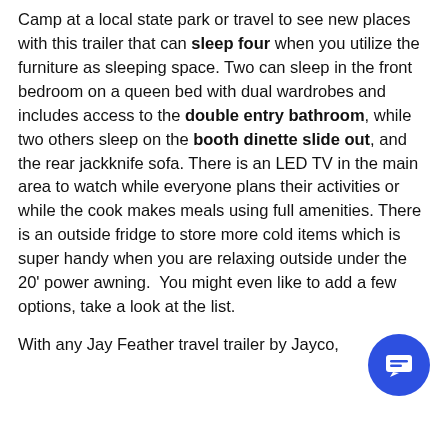Camp at a local state park or travel to see new places with this trailer that can sleep four when you utilize the furniture as sleeping space. Two can sleep in the front bedroom on a queen bed with dual wardrobes and includes access to the double entry bathroom, while two others sleep on the booth dinette slide out, and the rear jackknife sofa. There is an LED TV in the main area to watch while everyone plans their activities or while the cook makes meals using full amenities. There is an outside fridge to store more cold items which is super handy when you are relaxing outside under the 20' power awning.  You might even like to add a few options, take a look at the list.
With any Jay Feather travel trailer by Jayco,